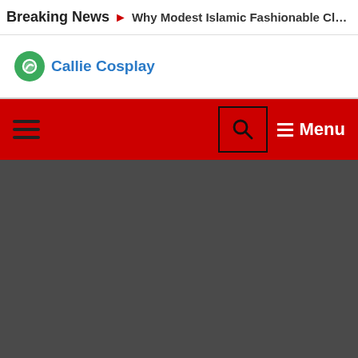Breaking News > Why Modest Islamic Fashionable Clothing Preferred b…
Callie Cosplay
Menu
[Figure (screenshot): Dark gray content area placeholder below the navigation bar]